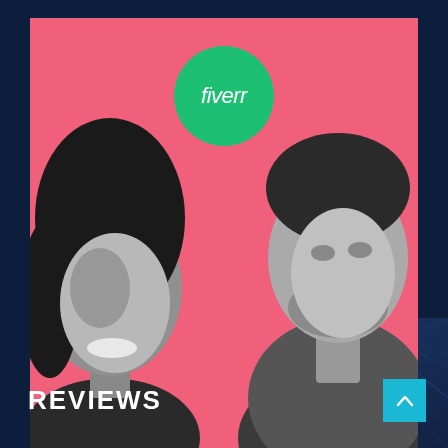[Figure (photo): Fiverr advertisement banner with pink background showing two people (a smiling woman on the left and a man on the right) in grayscale. A green circle with 'fiverr' logo is centered at top. White bold text on left reads 'Your team is way behind schedule.' and on right reads 'He'll get you instantly ahead of it.' A green CTA button reads 'Hire Fiverr Freelancers'.]
REVIEWS
[Figure (screenshot): Dark navy blue background with a faint diagonal image of what appears to be a building or structure. A teal/cyan scroll-to-top button with an upward chevron arrow is in the bottom right corner.]